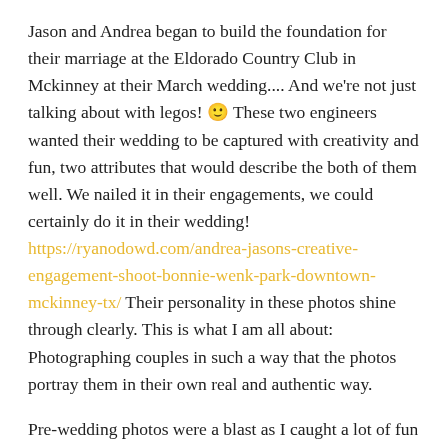Jason and Andrea began to build the foundation for their marriage at the Eldorado Country Club in Mckinney at their March wedding.... And we're not just talking about with legos! 🙂 These two engineers wanted their wedding to be captured with creativity and fun, two attributes that would describe the both of them well. We nailed it in their engagements, we could certainly do it in their wedding! https://ryanodowd.com/andrea-jasons-creative-engagement-shoot-bonnie-wenk-park-downtown-mckinney-tx/ Their personality in these photos shine through clearly. This is what I am all about: Photographing couples in such a way that the photos portray them in their own real and authentic way.
Pre-wedding photos were a blast as I caught a lot of fun moments on camera with the couple and their family being themselves. Instead of doing a first look, Andrea and Jason wanted to have a photo of them around the corner from each other holding hands. This would keep the old tradition of the groom seeing the bride for the first time on their wedding day